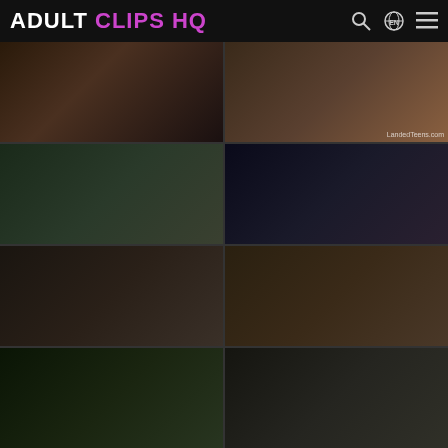ADULT CLIPS HQ
[Figure (photo): Grid of 8 video thumbnails from adult video website]
[Figure (photo): Thumbnail 1: interior car scene]
[Figure (photo): Thumbnail 2: young woman in car, LandedTeens.com watermark]
[Figure (photo): Thumbnail 3: outdoor scene with couple next to car]
[Figure (photo): Thumbnail 4: close-up car interior scene]
[Figure (photo): Thumbnail 5: outdoor scene with woman in pink jacket]
[Figure (photo): Thumbnail 6: car interior close-up scene]
[Figure (photo): Thumbnail 7: driving scene through windshield]
[Figure (photo): Thumbnail 8: woman in car passenger seat]